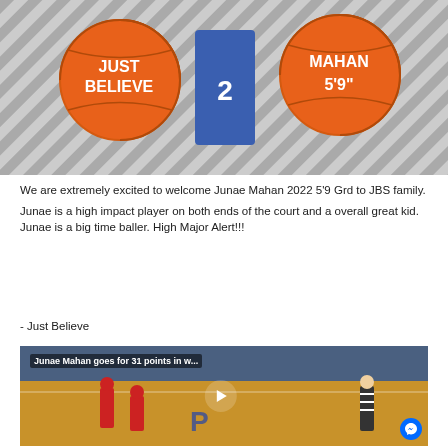[Figure (photo): Promotional graphic for Junae Mahan basketball recruitment, showing basketball graphics with 'JUST BELIEVE' and 'MAHAN 5'9"' text against a striped background with player silhouette]
We are extremely excited to welcome Junae Mahan 2022 5'9 Grd to JBS family.
Junae is a high impact player on both ends of the court and a overall great kid. Junae is a big time baller. High Major Alert!!!
- Just Believe
[Figure (screenshot): Embedded YouTube video thumbnail showing basketball game with title 'Junae Mahan goes for 31 points in w...' with play button overlay and Facebook Messenger icon]